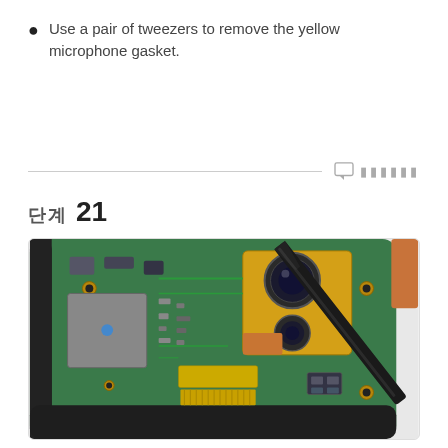Use a pair of tweezers to remove the yellow microphone gasket.
[Figure (photo): Close-up photo of a smartphone circuit board (PCB) showing camera modules, various components, and a black pair of tweezers being used to work on a component near the bottom edge of the board.]
단계 21